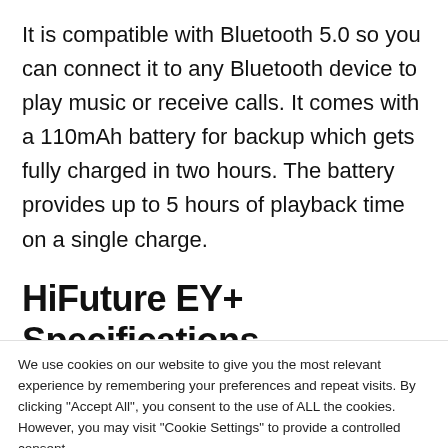It is compatible with Bluetooth 5.0 so you can connect it to any Bluetooth device to play music or receive calls. It comes with a 110mAh battery for backup which gets fully charged in two hours. The battery provides up to 5 hours of playback time on a single charge.
HiFuture EY+ Specifications
We use cookies on our website to give you the most relevant experience by remembering your preferences and repeat visits. By clicking "Accept All", you consent to the use of ALL the cookies. However, you may visit "Cookie Settings" to provide a controlled consent.